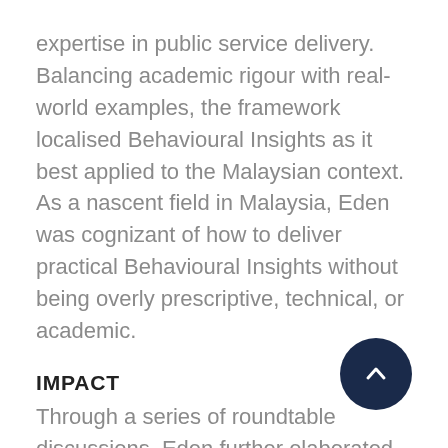expertise in public service delivery. Balancing academic rigour with real-world examples, the framework localised Behavioural Insights as it best applied to the Malaysian context. As a nascent field in Malaysia, Eden was cognizant of how to deliver practical Behavioural Insights without being overly prescriptive, technical, or academic.
IMPACT
Through a series of roundtable discussions, Eden further elaborated the potential of behavioural insights to improve upon public policy, public service delivery and organisational excellence. The PRIME Framework and publication developed for MPC may be downloaded here. Such efforts have the potential to advance Malaysia towards a